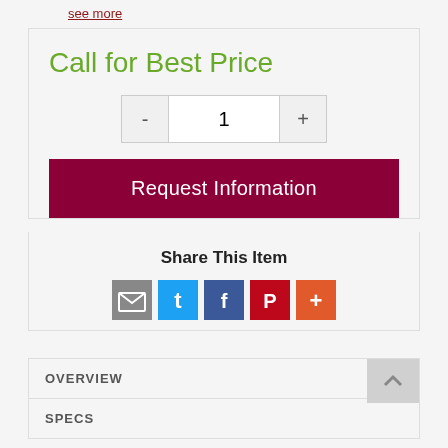see more
Call for Best Price
- 1 +
Request Information
Share This Item
[Figure (infographic): Row of social share icons: email (grey), Twitter (blue), Facebook (dark blue), Pinterest (red), Add/More (orange-red)]
OVERVIEW
SPECS